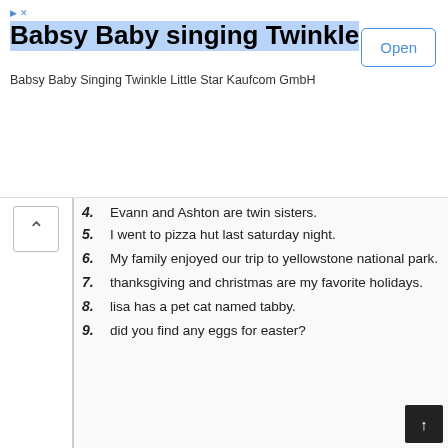[Figure (screenshot): Advertisement banner for 'Babsy Baby singing Twinkle' app by Kaufcom GmbH with an Open button]
[Figure (screenshot): Worksheet showing numbered sentences about common and proper nouns. Items 4-9 visible: '4. Evann and Ashton are twin sisters.', '5. I went to pizza hut last saturday night.', '6. My family enjoyed our trip to yellowstone national park.', '7. thanksgiving and christmas are my favorite holidays.', '8. lisa has a pet cat named tabby.', '9. did you find any eggs for easter?']
Common And Proper Nouns Printable
Popular Posts
[Figure (screenshot): Three thumbnail images with French words: 'blanc', 'pour', 'peu']